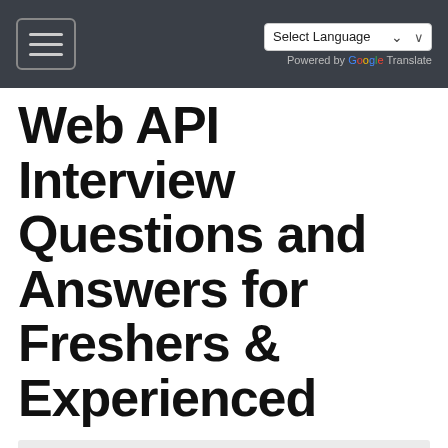Select Language | Powered by Google Translate
Web API Interview Questions and Answers for Freshers & Experienced
Home
Web API interview question for experienced